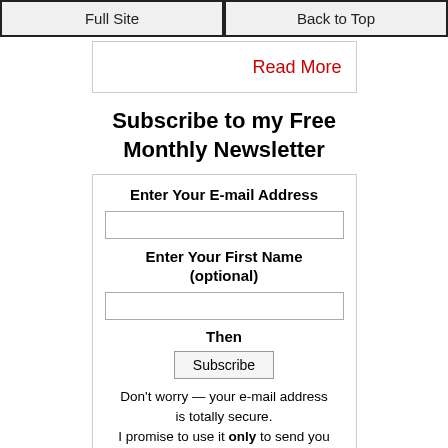Full Site  |  Back to Top
Read More
Subscribe to my Free Monthly Newsletter
Enter Your E-mail Address
Enter Your First Name (optional)
Then
Subscribe
Don't worry — your e-mail address is totally secure. I promise to use it only to send you Osteopenia3.